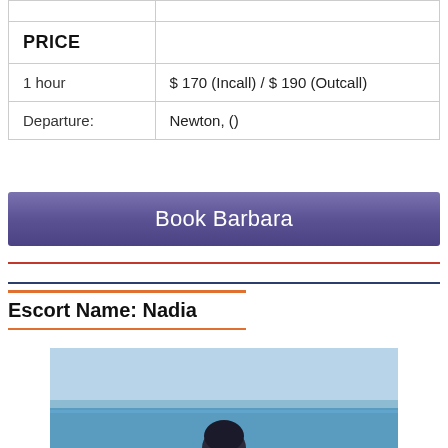|  |  |
| --- | --- |
| PRICE |  |
| 1 hour | $ 170 (Incall) / $ 190 (Outcall) |
| Departure: | Newton, () |
Book Barbara
Escort Name: Nadia
[Figure (photo): Photo of Nadia at a beach or seaside location with blue sky and water in the background, person visible from the neck area upward at the bottom of the image.]